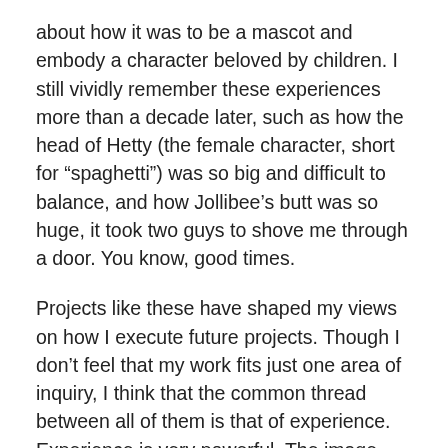about how it was to be a mascot and embody a character beloved by children. I still vividly remember these experiences more than a decade later, such as how the head of Hetty (the female character, short for “spaghetti”) was so big and difficult to balance, and how Jollibee’s butt was so huge, it took two guys to shove me through a door. You know, good times.
Projects like these have shaped my views on how I execute future projects. Though I don’t feel that my work fits just one area of inquiry, I think that the common thread between all of them is that of experience. Experience is very powerful. The image may have the last word, but in a world where we are saturated by images, I believe that experience makes these images last longer and gives them more meaning.